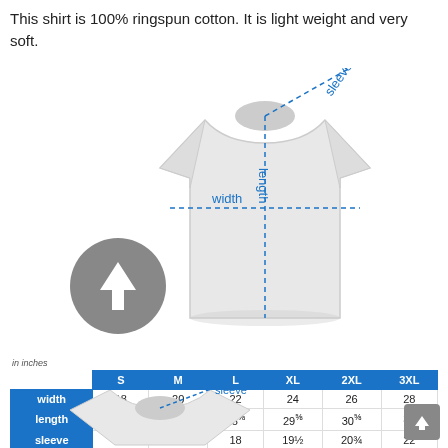This shirt is 100% ringspun cotton. It is light weight and very soft.
[Figure (illustration): T-shirt sizing diagram showing a white t-shirt with blue dashed lines indicating width, length, and sleeve measurements. An arrow-up icon in a gray circle is shown to the lower left.]
| in inches | S | M | L | XL | 2XL | 3XL |
| --- | --- | --- | --- | --- | --- | --- |
| width | 18 | 20 | 22 | 24 | 26 | 28 |
| length | 26⅝ | 27⅝ | 28⅝ | 29⅝ | 30⅝ | 33 |
| sleeve | 15 | 16½ | 18 | 19½ | 20¾ | 22 |
[Figure (illustration): Partial t-shirt diagram at bottom of page showing top of white t-shirt with blue dashed sleeve measurement line and 'sleeve' label.]